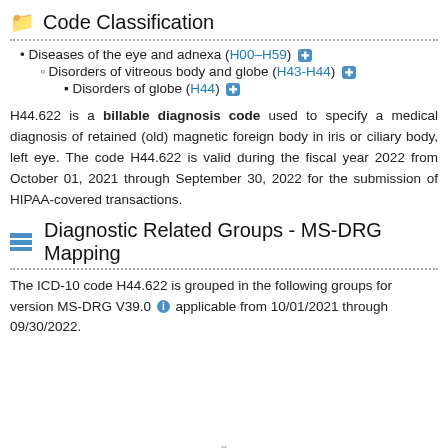Code Classification
Diseases of the eye and adnexa (H00–H59)
Disorders of vitreous body and globe (H43-H44)
Disorders of globe (H44)
H44.622 is a billable diagnosis code used to specify a medical diagnosis of retained (old) magnetic foreign body in iris or ciliary body, left eye. The code H44.622 is valid during the fiscal year 2022 from October 01, 2021 through September 30, 2022 for the submission of HIPAA-covered transactions.
Diagnostic Related Groups - MS-DRG Mapping
The ICD-10 code H44.622 is grouped in the following groups for version MS-DRG V39.0 applicable from 10/01/2021 through 09/30/2022.